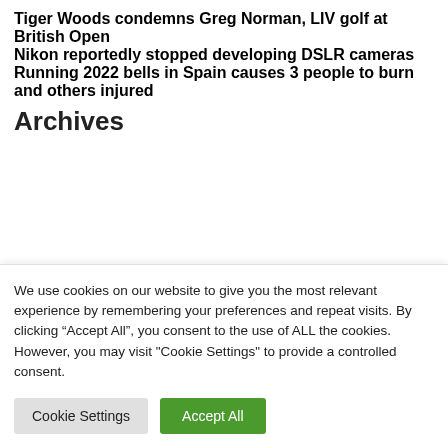Tiger Woods condemns Greg Norman, LIV golf at British Open
Nikon reportedly stopped developing DSLR cameras
Running 2022 bells in Spain causes 3 people to burn and others injured
Archives
We use cookies on our website to give you the most relevant experience by remembering your preferences and repeat visits. By clicking “Accept All”, you consent to the use of ALL the cookies. However, you may visit "Cookie Settings" to provide a controlled consent.
Cookie Settings   Accept All